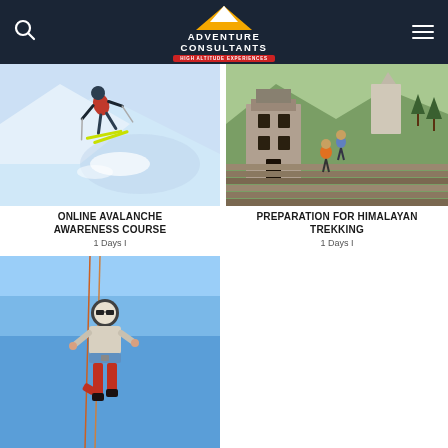Adventure Consultants — High Altitude Experiences
[Figure (photo): Person skiing/snowboarding down a steep snowy mountain slope with yellow skis and red/black jacket]
ONLINE AVALANCHE AWARENESS COURSE
1 Days I
[Figure (photo): People trekking up stone steps past traditional Himalayan stone buildings and stupas]
PREPARATION FOR HIMALAYAN TREKKING
1 Days I
[Figure (photo): Person rappelling/abseiling against a blue sky, wearing helmet and red pants]